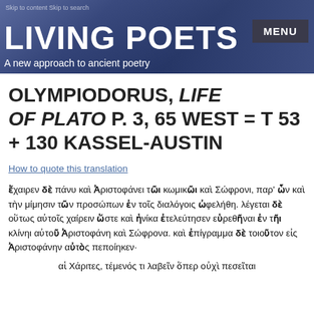LIVING POETS – A new approach to ancient poetry
OLYMPIODORUS, LIFE OF PLATO P. 3, 65 WEST = T 53 + 130 KASSEL-AUSTIN
How to quote this translation
ἔχαιρεν δὲ πάνυ καὶ Ἀριστοφάνει τῶι κωμικῶι καὶ Σώφρονι, παρ' ὧν καὶ τὴν μίμησιν τῶν προσώπων ἐν τοῖς διαλόγοις ὠφελήθη. λέγεται δὲ οὕτως αὐτοῖς χαίρειν ὥστε καὶ ἡνίκα ἐτελεύτησεν εὑρεθῆναι ἐν τῆι κλίνηι αὐτοῦ Ἀριστοφάνη καὶ Σώφρονα. καὶ ἐπίγραμμα δὲ τοιοῦτον εἰς Ἀριστοφάνην αὐτὸς πεποίηκεν·
αἱ Χάριτες, τέμενός τι λαβεῖν ὅπερ οὐχὶ πεσεῖται